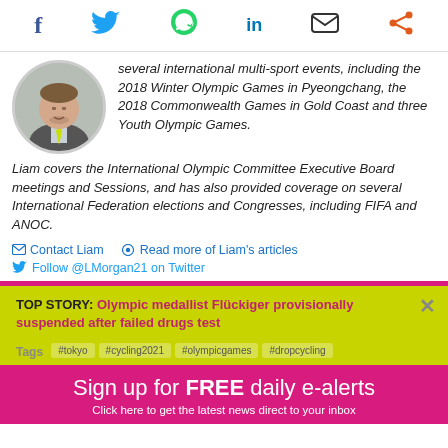Social share icons: Facebook, Twitter, WhatsApp, LinkedIn, Email, Share
[Figure (photo): Circular headshot of Liam Morgan, a man in a suit with a yellow tie]
several international multi-sport events, including the 2018 Winter Olympic Games in Pyeongchang, the 2018 Commonwealth Games in Gold Coast and three Youth Olympic Games.
Liam covers the International Olympic Committee Executive Board meetings and Sessions, and has also provided coverage on several International Federation elections and Congresses, including FIFA and ANOC.
✉ Contact Liam   👁 Read more of Liam's articles
🐦 Follow @LMorgan21 on Twitter
TOP STORY: Olympic medallist Flückiger provisionally suspended after failed drugs test
Tags
Sign up for FREE daily e-alerts
Click here to get the latest news direct to your inbox